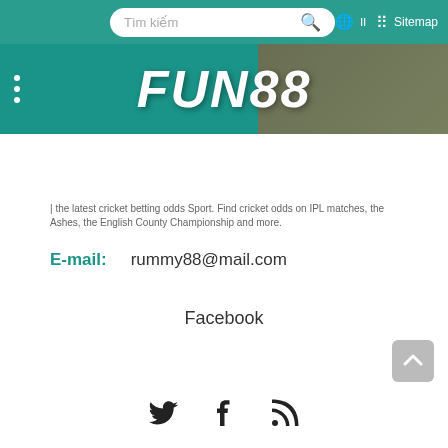[Figure (screenshot): Top navigation bar with search box labeled 'Tìm kiếm', globe icon, language selector, and Sitemap link on teal background]
[Figure (logo): FUN88 logo in bold white italic text on teal banner with hamburger menu icon on left and brown background on right]
| the latest cricket betting odds Sport. Find cricket odds on IPL matches, the Ashes, the English County Championship and more.
E-mail:  rummy88@mail.com
Facebook
[Figure (illustration): Social media icons: Twitter bird, Facebook f, and RSS feed symbol]